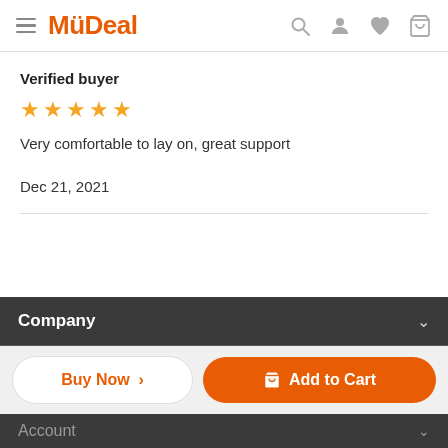MyDeal
Verified buyer
★★★★★ (5 stars)
Very comfortable to lay on, great support
Dec 21, 2021
Company
Buy Now >
Add to Cart
Account